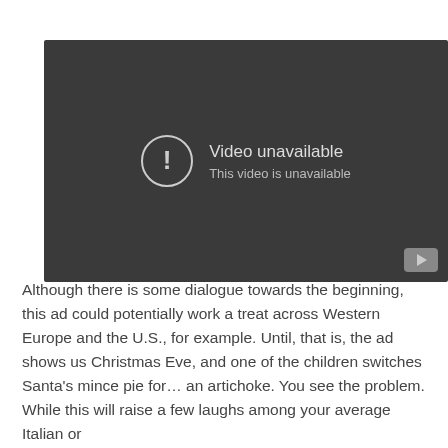[Figure (screenshot): Video player showing 'Video unavailable' error message with an exclamation mark in a circle icon, and a YouTube button in the bottom right corner. Dark grey background.]
Although there is some dialogue towards the beginning, this ad could potentially work a treat across Western Europe and the U.S., for example. Until, that is, the ad shows us Christmas Eve, and one of the children switches Santa's mince pie for… an artichoke. You see the problem. While this will raise a few laughs among your average Italian or